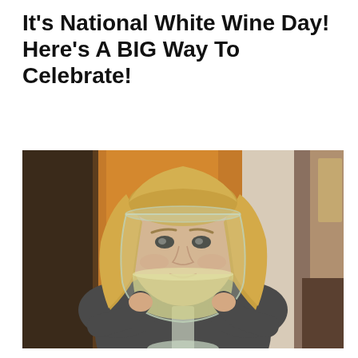It's National White Wine Day! Here's A BIG Way To Celebrate!
[Figure (photo): A blonde woman smiling and holding a very large wine glass filled with white wine, in an indoor setting with warm wooden tones in the background.]